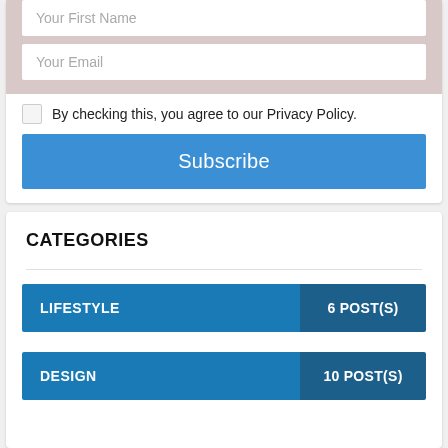Your First Name
Your Email
By checking this, you agree to our Privacy Policy.
Subscribe
CATEGORIES
| Category | Count |
| --- | --- |
| LIFESTYLE | 6 POST(S) |
| DESIGN | 10 POST(S) |